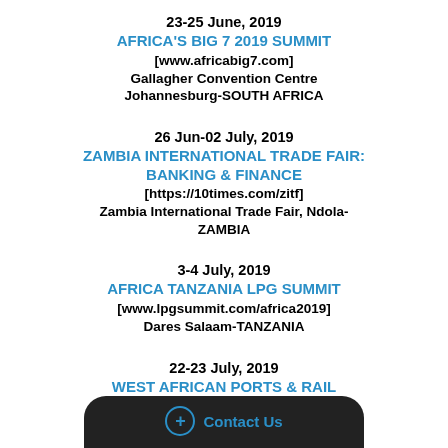23-25 June, 2019
AFRICA'S BIG 7 2019 SUMMIT
[www.africabig7.com]
Gallagher Convention Centre Johannesburg-SOUTH AFRICA
26 Jun-02 July, 2019
ZAMBIA INTERNATIONAL TRADE FAIR: BANKING & FINANCE
[https://10times.com/zitf]
Zambia International Trade Fair, Ndola-ZAMBIA
3-4 July, 2019
AFRICA TANZANIA LPG SUMMIT
[www.lpgsummit.com/africa2019]
Dares Salaam-TANZANIA
22-23 July, 2019
WEST AFRICAN PORTS & RAIL BUSINESS SUMMIT
[www...com]